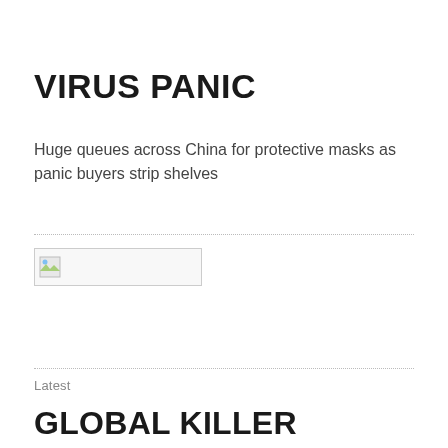VIRUS PANIC
Huge queues across China for protective masks as panic buyers strip shelves
[Figure (photo): Broken/unloaded image placeholder with small thumbnail icon]
Latest
GLOBAL KILLER